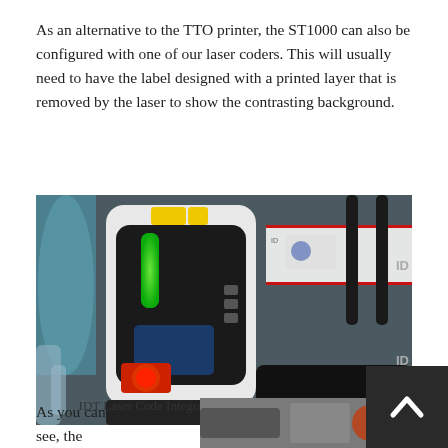As an alternative to the TTO printer, the ST1000 can also be configured with one of our laser coders. This will usually need to have the label designed with a printed layer that is removed by the laser to show the contrasting background.
[Figure (photo): Photo of IDT Laser Code Integrated With Applicator machine - a white and black label applicator device with green LED indicator, emergency stop button, and label roll visible in background.]
IDT Laser Code Integrated With Applicator
As you can see, the
[Figure (photo): Partial photo of machinery, partially obscured by scroll-to-top button overlay.]